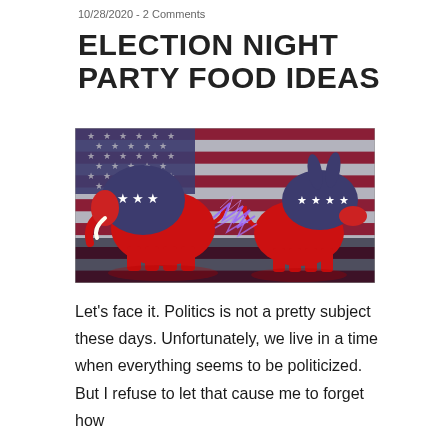10/28/2020 - 2 Comments
ELECTION NIGHT PARTY FOOD IDEAS
[Figure (photo): Republican elephant and Democratic donkey 3D figurines facing each other with lightning between them, set against an American flag background with red and white stripes and blue canton with stars]
Let's face it. Politics is not a pretty subject these days. Unfortunately, we live in a time when everything seems to be politicized. But I refuse to let that cause me to forget how